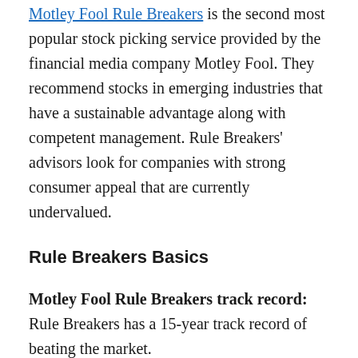Motley Fool Rule Breakers is the second most popular stock picking service provided by the financial media company Motley Fool. They recommend stocks in emerging industries that have a sustainable advantage along with competent management. Rule Breakers' advisors look for companies with strong consumer appeal that are currently undervalued.
Rule Breakers Basics
Motley Fool Rule Breakers track record: Rule Breakers has a 15-year track record of beating the market.